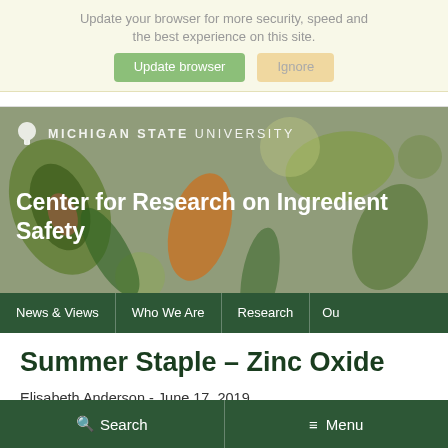Update your browser for more security, speed and the best experience on this site.
[Figure (screenshot): Browser update banner with 'Update browser' (green button) and 'Ignore' (tan button) options]
[Figure (screenshot): Michigan State University header banner with decorative fruit/vegetable graphics and 'Center for Research on Ingredient Safety' title]
MICHIGAN STATE UNIVERSITY
Center for Research on Ingredient Safety
News & Views | Who We Are | Research | Ou
Summer Staple – Zinc Oxide
Elisabeth Anderson - June 17, 2019
Search   Menu